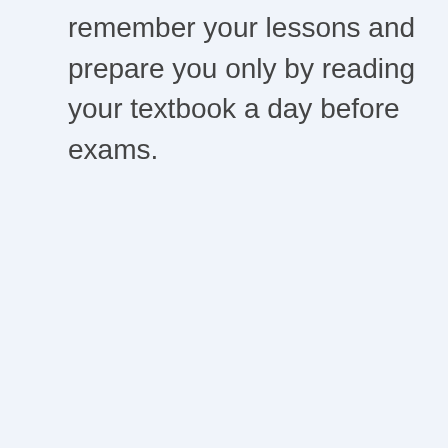remember your lessons and prepare you only by reading your textbook a day before exams.